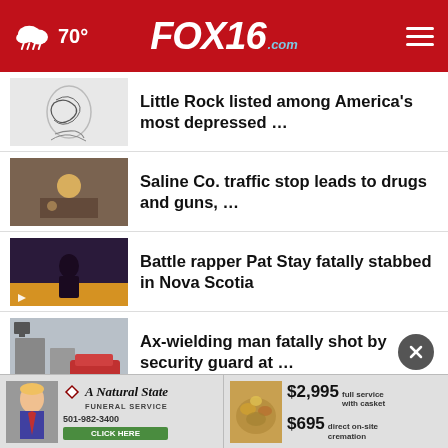FOX16.com | 70° weather | navigation menu
Little Rock listed among America's most depressed …
Saline Co. traffic stop leads to drugs and guns, …
Battle rapper Pat Stay fatally stabbed in Nova Scotia
Ax-wielding man fatally shot by security guard at …
Tom Cruise's daring airborne stunt leaked online
[Figure (advertisement): A Natural State Funeral Service ad with phone number 501-982-3400 and Click Here button. $2,995 full service with casket. $695 direct on-site cremation.]